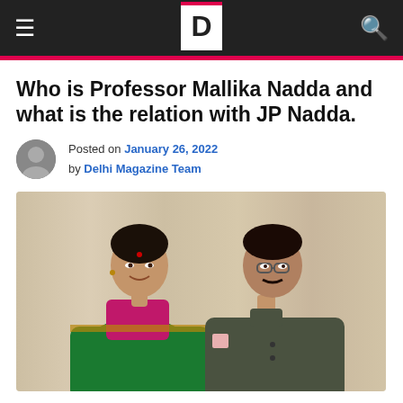Delhi Magazine
Who is Professor Mallika Nadda and what is the relation with JP Nadda.
Posted on January 26, 2022 by Delhi Magazine Team
[Figure (photo): A woman in a green and pink silk saree standing next to a man in a dark olive bandhgala suit, both smiling for a photo indoors with a beige curtain background.]